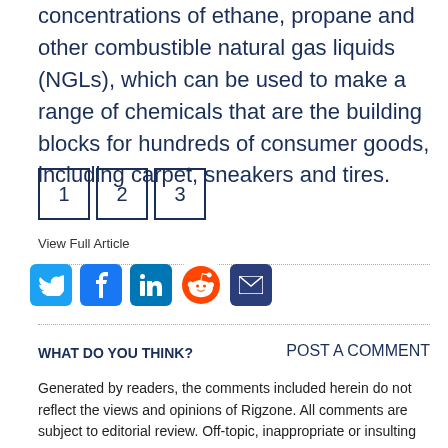concentrations of ethane, propane and other combustible natural gas liquids (NGLs), which can be used to make a range of chemicals that are the building blocks for hundreds of consumer goods, including carpet, sneakers and tires.
1 2 3
View Full Article
[Figure (other): Social share icons: Twitter, Facebook, LinkedIn, Reddit, Email]
WHAT DO YOU THINK?
POST A COMMENT
Generated by readers, the comments included herein do not reflect the views and opinions of Rigzone. All comments are subject to editorial review. Off-topic, inappropriate or insulting